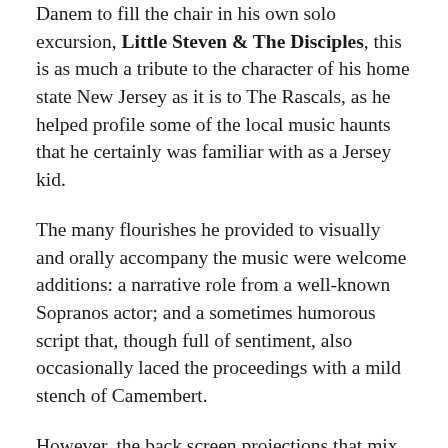Danem to fill the chair in his own solo excursion, Little Steven & The Disciples, this is as much a tribute to the character of his home state New Jersey as it is to The Rascals, as he helped profile some of the local music haunts that he certainly was familiar with as a Jersey kid.
The many flourishes he provided to visually and orally accompany the music were welcome additions: a narrative role from a well-known Sopranos actor; and a sometimes humorous script that, though full of sentiment, also occasionally laced the proceedings with a mild stench of Camembert.
However, the back screen projections that mix psychedelics with a peppering of '60s film and TV references were accurate and entertaining supplements to The Rascals' energetic performance, although the reconstructed bits of